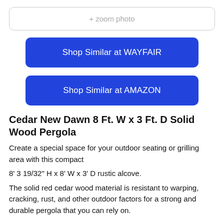[Figure (other): + zoom photo button]
Shop Similar at WAYFAIR
Shop Similar at AMAZON
Cedar New Dawn 8 Ft. W x 3 Ft. D Solid Wood Pergola
Create a special space for your outdoor seating or grilling area with this compact
8' 3 19/32" H x 8' W x 3' D rustic alcove.
The solid red cedar wood material is resistant to warping, cracking, rust, and other outdoor factors for a strong and durable pergola that you can rely on.